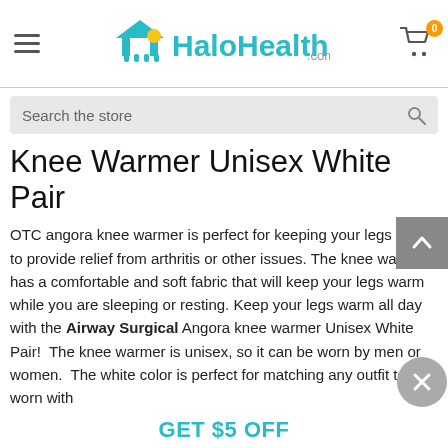[Figure (logo): HaloHealthcare.com logo with house icon in teal/yellow]
Search the store
Knee Warmer Unisex White Pair
OTC angora knee warmer is perfect for keeping your legs warm to provide relief from arthritis or other issues. The knee warmer has a comfortable and soft fabric that will keep your legs warm while you are sleeping or resting. Keep your legs warm all day with the Airway Surgical Angora knee warmer Unisex White Pair! The knee warmer is unisex, so it can be worn by men or women. The white color is perfect for matching any outfit to be worn with
GET $5 OFF
CLAIM MY COUPON